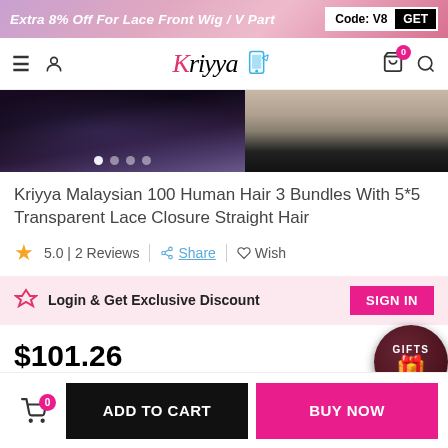Extra 8% Off For Lace Front Wig / V Part  Code: V8  GET
[Figure (screenshot): Kriyya e-commerce website navigation bar with hamburger menu, user icon, Kriyya logo, phone/app icon, cart with 0 badge, and search icon]
[Figure (photo): Product photos of Kriyya Malaysian 100 Human Hair with glittery dark styling and hair closure detail]
Kriyya Malaysian 100 Human Hair 3 Bundles With 5*5 Transparent Lace Closure Straight Hair
5.0 | 2 Reviews   Share   Wish
Login & Get Exclusive Discount  SIGN IN
$101.26
[Figure (illustration): Gifts promotion badge circles showing GIFTS and $100 reward icons]
ADD TO CART   BUY NOW